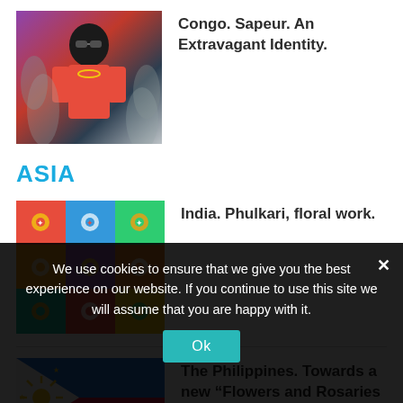[Figure (photo): Photo of a Sapeur from Congo wearing colorful clothing and sunglasses]
Congo. Sapeur. An Extravagant Identity.
ASIA
[Figure (photo): Photo of colorful Indian Phulkari embroidery textile art]
India. Phulkari, floral work.
[Figure (photo): Photo of the Philippine flag with blue and red stripes and sun emblem]
The Philippines. Towards a new “Flowers and Rosaries Revolution”.
We use cookies to ensure that we give you the best experience on our website. If you continue to use this site we will assume that you are happy with it.